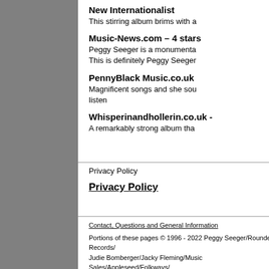New Internationalist
This stirring album brims with a
Music-News.com – 4 stars
Peggy Seeger is a monumenta... This is definitely Peggy Seeger...
PennyBlack Music.co.uk
Magnificent songs and she sou... listen
Whisperinandhollerin.co.uk -
A remarkably strong album tha...
Privacy Policy
Privacy Policy
Contact, Questions and General Information
Portions of these pages © 1996 - 2022 Peggy Seeger/Rounder Records/ Judie Bomberger/Jacky Fleming/Music Sales/Appleseed/Folkways/ Fellside/Sliced Bread/Irene Young and many others. All rights reserved.
Please send email to the Webmaster if you have any questions or comments.